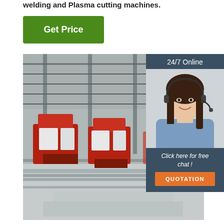welding and Plasma cutting machines.
Get Price
[Figure (photo): Interior of a large industrial factory showing red CNC plasma cutting machines on rail tracks with steel beams visible overhead and metal plates on the floor.]
24/7 Online
[Figure (photo): Customer service agent woman with headset smiling, wearing a blue shirt.]
Click here for free chat !
QUOTATION